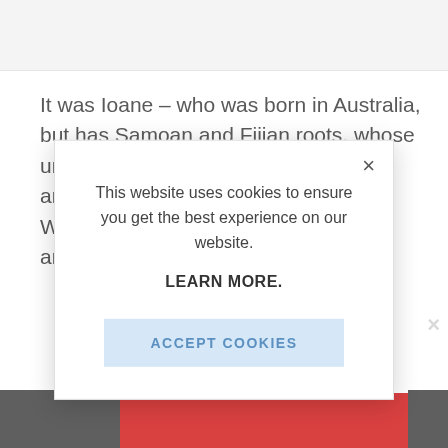It was Ioane – who was born in Australia, but has Samoan and Fijian roots, whose uncle Digby Ioane and Wall and
[Figure (screenshot): Cookie consent modal dialog overlaying a webpage. The modal contains text 'This website uses cookies to ensure you get the best experience on our website.' followed by a bold 'LEARN MORE.' link and an 'ACCEPT COOKIES' button with light blue background. A close (×) button is in the top-right corner of the modal.]